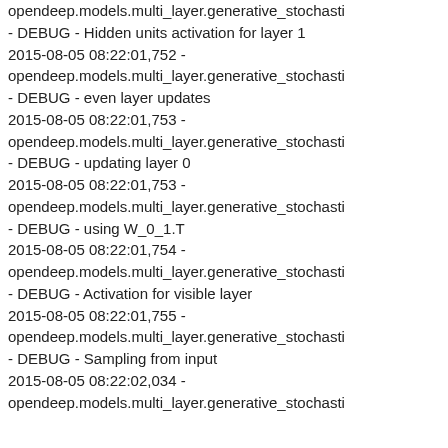opendeep.models.multi_layer.generative_stochasti
- DEBUG - Hidden units activation for layer 1
2015-08-05 08:22:01,752 -
opendeep.models.multi_layer.generative_stochasti
- DEBUG - even layer updates
2015-08-05 08:22:01,753 -
opendeep.models.multi_layer.generative_stochasti
- DEBUG - updating layer 0
2015-08-05 08:22:01,753 -
opendeep.models.multi_layer.generative_stochasti
- DEBUG - using W_0_1.T
2015-08-05 08:22:01,754 -
opendeep.models.multi_layer.generative_stochasti
- DEBUG - Activation for visible layer
2015-08-05 08:22:01,755 -
opendeep.models.multi_layer.generative_stochasti
- DEBUG - Sampling from input
2015-08-05 08:22:02,034 -
opendeep.models.multi_layer.generative_stochasti